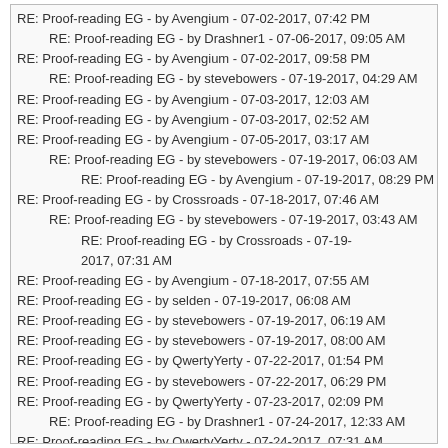RE: Proof-reading EG - by Avengium - 07-02-2017, 07:42 PM
RE: Proof-reading EG - by Drashner1 - 07-06-2017, 09:05 AM
RE: Proof-reading EG - by Avengium - 07-02-2017, 09:58 PM
RE: Proof-reading EG - by stevebowers - 07-19-2017, 04:29 AM
RE: Proof-reading EG - by Avengium - 07-03-2017, 12:03 AM
RE: Proof-reading EG - by Avengium - 07-03-2017, 02:52 AM
RE: Proof-reading EG - by Avengium - 07-05-2017, 03:17 AM
RE: Proof-reading EG - by stevebowers - 07-19-2017, 06:03 AM
RE: Proof-reading EG - by Avengium - 07-19-2017, 08:29 PM
RE: Proof-reading EG - by Crossroads - 07-18-2017, 07:46 AM
RE: Proof-reading EG - by stevebowers - 07-19-2017, 03:43 AM
RE: Proof-reading EG - by Crossroads - 07-19-2017, 07:31 AM
RE: Proof-reading EG - by Avengium - 07-18-2017, 07:55 AM
RE: Proof-reading EG - by selden - 07-19-2017, 06:08 AM
RE: Proof-reading EG - by stevebowers - 07-19-2017, 06:19 AM
RE: Proof-reading EG - by stevebowers - 07-19-2017, 08:00 AM
RE: Proof-reading EG - by QwertyYerty - 07-22-2017, 01:54 PM
RE: Proof-reading EG - by stevebowers - 07-22-2017, 06:29 PM
RE: Proof-reading EG - by QwertyYerty - 07-23-2017, 02:09 PM
RE: Proof-reading EG - by Drashner1 - 07-24-2017, 12:33 AM
RE: Proof-reading EG - by QwertyYerty - 07-24-2017, 07:31 AM
RE: Proof-reading EG - by QwertyYerty - 07-24-2017, 08:26 AM
RE: Proof-reading EG - by QwertyYerty - 07-25-2017, 11:37 PM
RE: Proof-reading EG - by stevebowers - 07-26-2017, 12:48 AM